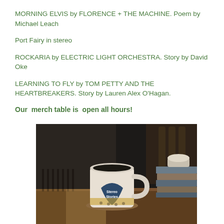MORNING ELVIS by FLORENCE + THE MACHINE. Poem by Michael Leach
Port Fairy in stereo
ROCKARIA by ELECTRIC LIGHT ORCHESTRA. Story by David Oke
LEARNING TO FLY by TOM PETTY AND THE HEARTBREAKERS. Story by Lauren Alex O'Hagan.
Our  merch table is  open all hours!
[Figure (photo): A white mug with 'Stereo Stories' label on a dark guitar-pick shaped badge, sitting on a wooden table next to a stack of books, with warm sunlight casting shadows.]